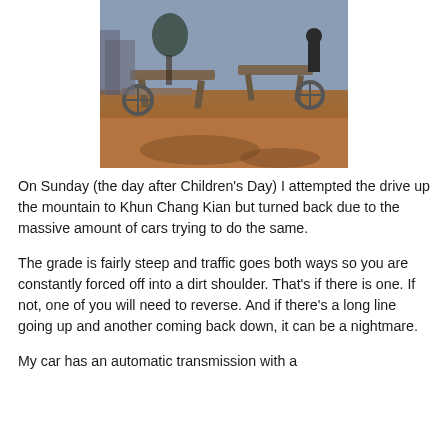[Figure (photo): Outdoor scene showing wooden picnic tables on a red dirt/clay surface with a blueish sky background. People and structures visible in the background.]
On Sunday (the day after Children's Day) I attempted the drive up the mountain to Khun Chang Kian but turned back due to the massive amount of cars trying to do the same.
The grade is fairly steep and traffic goes both ways so you are constantly forced off into a dirt shoulder. That's if there is one. If not, one of you will need to reverse. And if there's a long line going up and another coming back down, it can be a nightmare.
My car has an automatic transmission with a